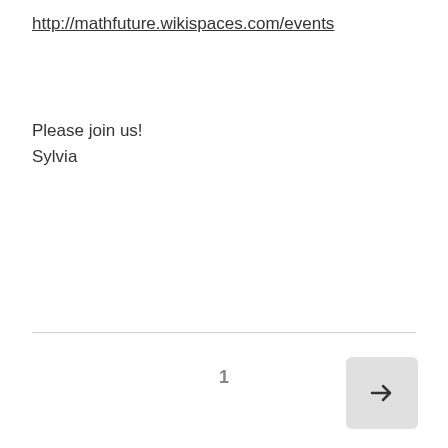http://mathfuture.wikispaces.com/events
Please join us!
Sylvia
1